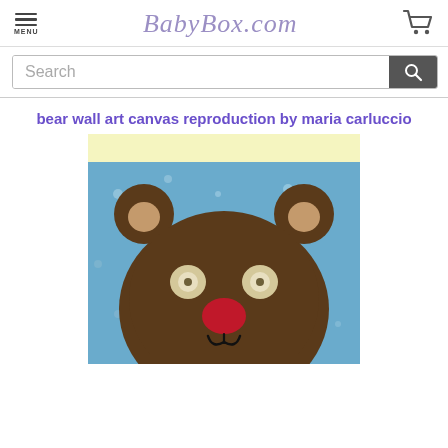MENU  BabyBox.com  [cart icon]
Search
bear wall art canvas reproduction by maria carluccio
[Figure (illustration): Children's art illustration of a brown bear face with button eyes, red nose, and small mouth on a blue speckled background with a light yellow top strip.]